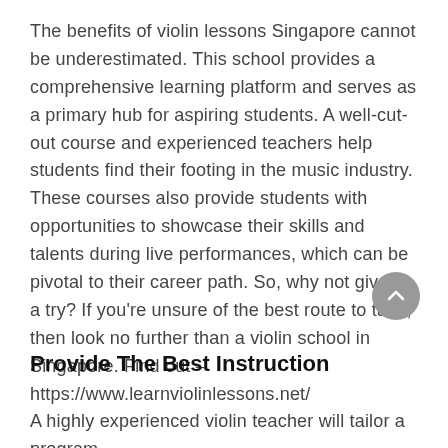The benefits of violin lessons Singapore cannot be underestimated. This school provides a comprehensive learning platform and serves as a primary hub for aspiring students. A well-cut-out course and experienced teachers help students find their footing in the music industry. These courses also provide students with opportunities to showcase their skills and talents during live performances, which can be pivotal to their career path. So, why not give it a try? If you're unsure of the best route to take, then look no further than a violin school in Singapore. Find out – https://www.learnviolinlessons.net/
Provide The Best Instruction
A highly experienced violin teacher will tailor a program